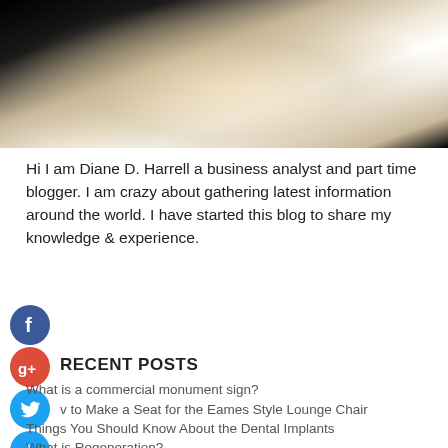[Figure (photo): Photo of a person in a white outfit with silver jewelry against a dark background]
Hi I am Diane D. Harrell a business analyst and part time blogger. I am crazy about gathering latest information around the world. I have started this blog to share my knowledge & experience.
[Figure (logo): Facebook social share button (blue circle with f)]
[Figure (logo): Google+ social share button (red circle with g+)]
RECENT POSTS
[Figure (logo): Twitter social share button (blue circle with bird)]
[Figure (logo): Plus/add social share button (blue circle with +)]
What is a commercial monument sign?
How to Make a Seat for the Eames Style Lounge Chair
Things You Should Know About the Dental Implants
What is Regeneration?
How To Help Your Baby Girl Bond Someone With A Disrupting Money